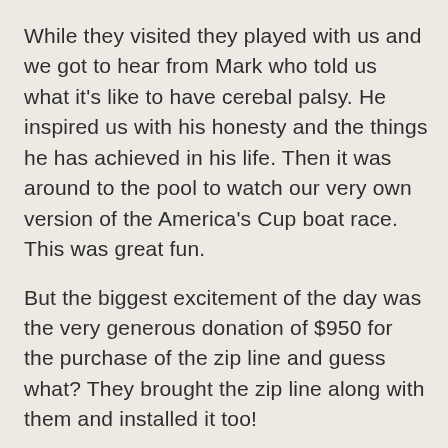While they visited they played with us and we got to hear from Mark who told us what it's like to have cerebal palsy. He inspired us with his honesty and the things he has achieved in his life. Then it was around to the pool to watch our very own version of the America's Cup boat race. This was great fun.
But the biggest excitement of the day was the very generous donation of $950 for the purchase of the zip line and guess what? They brought the zip line along with them and installed it too!